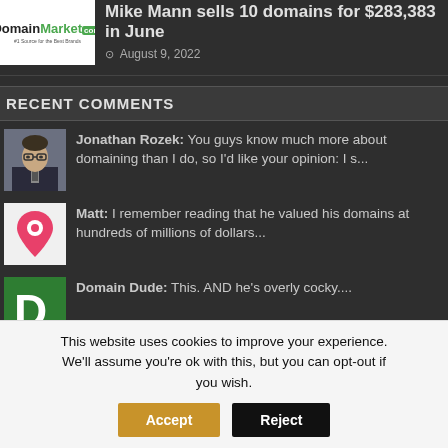[Figure (logo): DomainMarket.com logo — white background with green 'Market' text and '.com' badge, tagline '#1 Source for the Best Brands']
Mike Mann sells 10 domains for $283,383 in June
August 9, 2022
RECENT COMMENTS
[Figure (photo): Portrait photo of a man in a suit and tie]
Jonathan Rozek: You guys know much more about domaining than I do, so I'd like your opinion: I s...
[Figure (illustration): Pink location pin / map marker icon on white background]
Matt: I remember reading that he valued his domains at hundreds of millions of dollars...
[Figure (logo): Green square with white letter D logo for Domain Dude]
Domain Dude: This. AND he's overly cocky....
[Figure (photo): Partial avatar photo with brownish/golden tones, partially cut off]
K.J.Haroon Basha: Revenue from Godaddy
This website uses cookies to improve your experience. We'll assume you're ok with this, but you can opt-out if you wish.
Accept
Reject